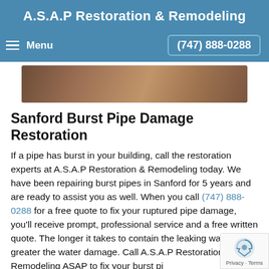A.S.A.P Restoration & Remodeling
Menu | (747) 888-0288
[Figure (photo): Hero image showing a brown/copper metallic surface, likely a pipe or material related to restoration work.]
Sanford Burst Pipe Damage Restoration
If a pipe has burst in your building, call the restoration experts at A.S.A.P Restoration & Remodeling today. We have been repairing burst pipes in Sanford for 5 years and are ready to assist you as well. When you call (747) 888-0288 for a free quote to fix your ruptured pipe damage, you'll receive prompt, professional service and a free written quote. The longer it takes to contain the leaking water, the greater the water damage. Call A.S.A.P Restoration & Remodeling ASAP to fix your burst pi